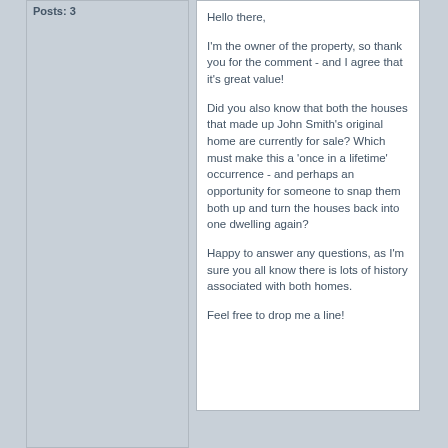Posts: 3
Hello there,

I'm the owner of the property, so thank you for the comment - and I agree that it's great value!

Did you also know that both the houses that made up John Smith's original home are currently for sale? Which must make this a 'once in a lifetime' occurrence - and perhaps an opportunity for someone to snap them both up and turn the houses back into one dwelling again?

Happy to answer any questions, as I'm sure you all know there is lots of history associated with both homes.

Feel free to drop me a line!